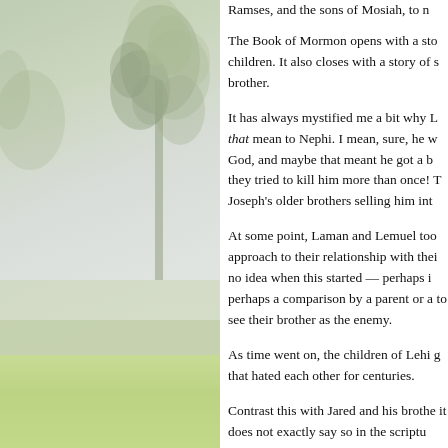[Figure (photo): Left panel showing a nature scene with a foggy sky and green foliage/trees in the upper portion, and a green grass/lawn area in the lower portion. A rounded rectangle phone/device frame outline is visible at the very top.]
Ramses, and the sons of Mosiah, to n
The Book of Mormon opens with a sto children. It also closes with a story of s brother.
It has always mystified me a bit why L that mean to Nephi. I mean, sure, he w God, and maybe that meant he got a b they tried to kill him more than once! T Joseph's older brothers selling him int
At some point, Laman and Lemuel too approach to their relationship with thei no idea when this started — perhaps i perhaps a comparison by a parent or a to see their brother as the enemy.
As time went on, the children of Lehi g that hated each other for centuries.
Contrast this with Jared and his brothe it does not exactly say so in the scriptu brother. The people seemed to look to directives came from him. Also, when